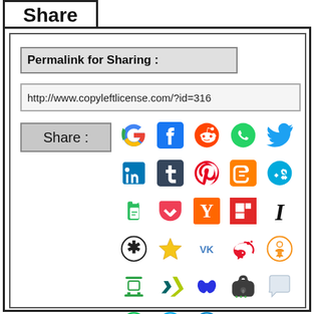Share
Permalink for Sharing :
http://www.copyleftlicense.com/?id=316
Share :
[Figure (infographic): Grid of social media share icons: Google, Facebook, Reddit, WhatsApp, Twitter, LinkedIn, Tumblr, Pinterest, Blogger, StumbleUpon, Evernote, Pocket, Hacker News (Y), Flipboard, Instapaper, Diaspora, Delicious, VK, Weibo, Odnoklassniki, Douban, Xing, Baidu, Telegram (lock), iMessage, LINE, Skype, Telegram, Email, Gmail]